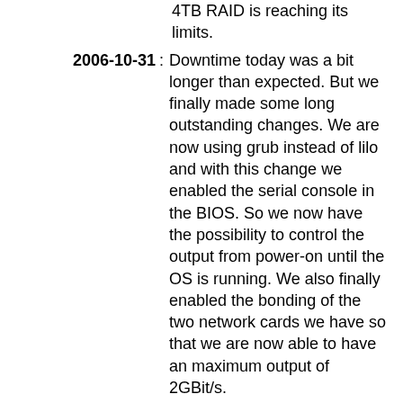4TB RAID is reaching its limits.
2006-10-31: Downtime today was a bit longer than expected. But we finally made some long outstanding changes. We are now using grub instead of lilo and with this change we enabled the serial console in the BIOS. So we now have the possibility to control the output from power-on until the OS is running. We also finally enabled the bonding of the two network cards we have so that we are now able to have an maximum output of 2GBit/s.
2006-10-23: Updated to Fedora Core 6. A reboot is still required to get the newest kernel running.
2006-04-21: Many reboots to get a newer kernel running but all attempts failed.
2006-04-02: Glory and fame for this server: FTP-Server mit Massendurchsatz.
2006-03-31: Reboot to install a second network